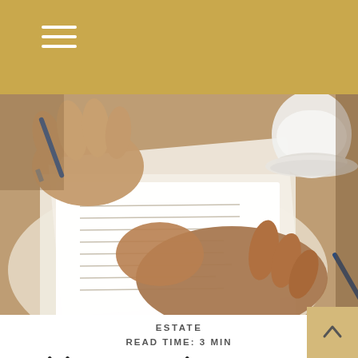≡ (hamburger menu)
[Figure (photo): Close-up of hands signing or reviewing a document/form with a pen, with a coffee cup visible in the upper right corner. Warm-toned overhead lighting.]
ESTATE
READ TIME: 3 MIN
A Living Trust Primer
A living trust is a legal consideration in...